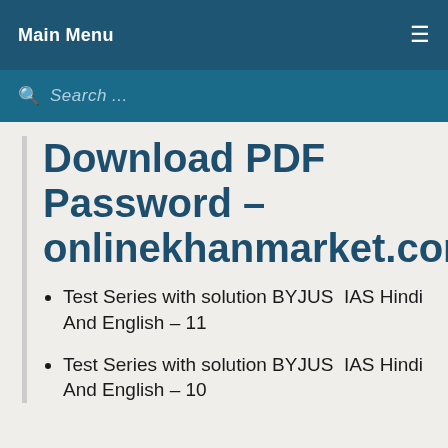Main Menu
Search ...
Download PDF Password – onlinekhanmarket.com
Test Series with solution BYJUS IAS Hindi And English – 11
Test Series with solution BYJUS IAS Hindi And English – 10